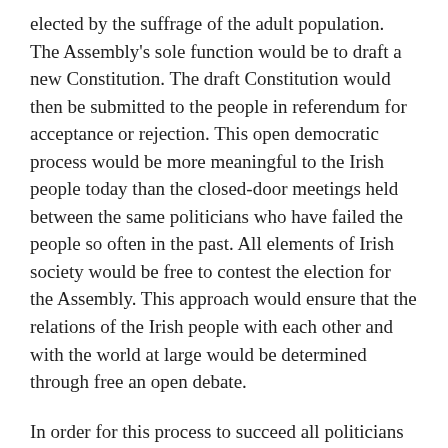elected by the suffrage of the adult population. The Assembly's sole function would be to draft a new Constitution. The draft Constitution would then be submitted to the people in referendum for acceptance or rejection. This open democratic process would be more meaningful to the Irish people today than the closed-door meetings held between the same politicians who have failed the people so often in the past. All elements of Irish society would be free to contest the election for the Assembly. This approach would ensure that the relations of the Irish people with each other and with the world at large would be determined through free an open debate.
In order for this process to succeed all politicians and political parties, expressing an interest in or concern for Ireland's future must put aside their differences and participate for the common good. In addition, all those individuals and political parties must also be prepared to